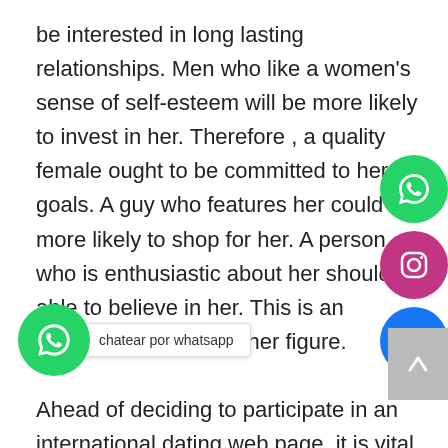be interested in long lasting relationships. Men who like a women's sense of self-esteem will be more likely to invest in her. Therefore , a quality female ought to be committed to her goals. A guy who features her could be more likely to shop for her. A person who is enthusiastic about her should be able to believe in her. This is an optimistic indicator of her figure.

Ahead of deciding to participate in an international dating web page, it is vital to be sure the site is definitely legitimate. However , regardless of the game, you should be able to trust a website that provides customer
[Figure (other): Three social media icons stacked vertically on the right side: WhatsApp (green), Instagram (purple), Facebook (blue)]
[Figure (other): Floating WhatsApp chat button at bottom left with label 'chatear por whatsapp']
[Figure (other): Back to top button at bottom right, gray background with upward arrow]